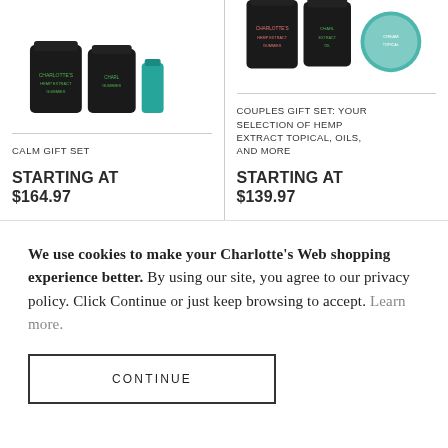[Figure (photo): Calm Gift Set product image showing dark supplement jars and a small teal bottle]
CALM GIFT SET
STARTING AT
$164.97
[Figure (photo): Couples Gift Set product image showing dark supplement jars and a round cream tin]
COUPLES GIFT SET: YOUR SELECTION OF HEMP EXTRACT TOPICAL, OILS, AND MORE
STARTING AT
$139.97
We use cookies to make your Charlotte's Web shopping experience better. By using our site, you agree to our privacy policy. Click Continue or just keep browsing to accept. Learn more.
CONTINUE